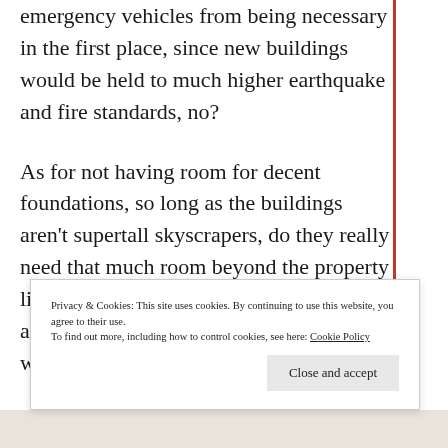emergency vehicles from being necessary in the first place, since new buildings would be held to much higher earthquake and fire standards, no?
As for not having room for decent foundations, so long as the buildings aren't supertall skyscrapers, do they really need that much room beyond the property limits for foundations? In NYC buildings are almost always built up to the lot line, with no room beyond the sides of the
Privacy & Cookies: This site uses cookies. By continuing to use this website, you agree to their use.
To find out more, including how to control cookies, see here: Cookie Policy
Close and accept